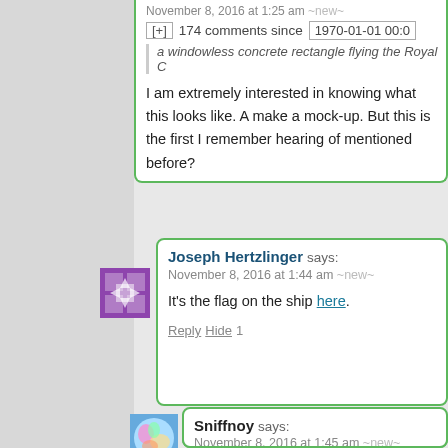November 8, 2016 at 1:25 am ~new~
[+] 174 comments since 1970-01-01 00:0
a windowless concrete rectangle flying the Royal C
I am extremely interested in knowing what this looks like. A make a mock-up. But this is the first I remember hearing of mentioned before?
Reply Hide
Joseph Hertzlinger says:
November 8, 2016 at 1:44 am ~new~
It’s the flag on the ship here.
Reply Hide 1
[Figure (illustration): Purple and white avatar icon with geometric pattern]
Sniffnoy says:
November 8, 2016 at 1:45 am ~new~
Note that Scott put an image of just th
http://slatestarcodex.com/blog_image